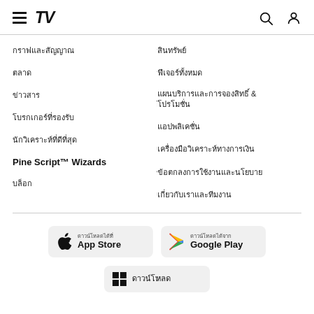TradingView navigation header
กราฟและสัญญาณ
ตลาด
ข่าวสาร
โบรกเกอร์ที่รองรับ
นักวิเคราะห์ที่ดีที่สุด
Pine Script™ Wizards
บล็อก
สินทรัพย์
ฟีเจอร์ทั้งหมด
แผนบริการและการจองสิทธิ์ & โปรโมชั่น
แอปพลิเคชั่น
เครื่องมือวิเคราะห์ทางการเงิน
ข้อตกลงการใช้งานและนโยบาย
เกี่ยวกับเราและทีมงาน